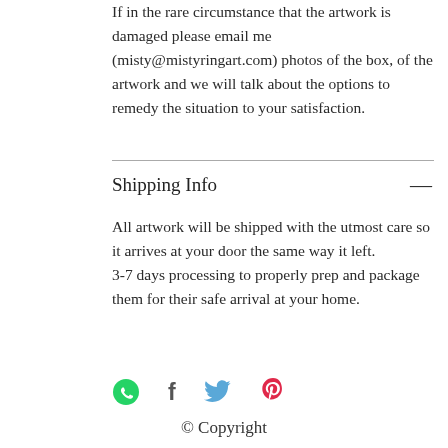If in the rare circumstance that the artwork is damaged please email me (misty@mistyringart.com) photos of the box, of the artwork and we will talk about the options to remedy the situation to your satisfaction.
Shipping Info
All artwork will be shipped with the utmost care so it arrives at your door the same way it left.
3-7 days processing to properly prep and package them for their safe arrival at your home.
[Figure (infographic): Social sharing icons: WhatsApp (green), Facebook (dark), Twitter (blue), Pinterest (red/pink)]
© Copyright